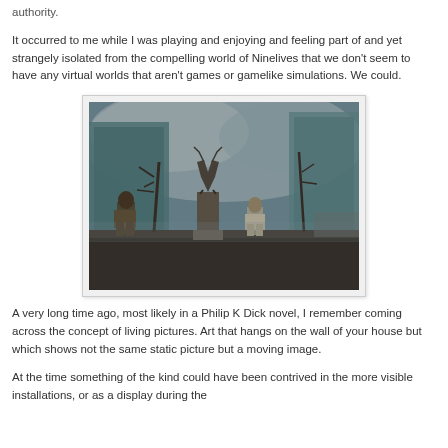authority.
It occurred to me while I was playing and enjoying and feeling part of and yet strangely isolated from the compelling world of Ninelives that we don't seem to have any virtual worlds that aren't games or gamelike simulations. We could.
[Figure (screenshot): A dark fantasy video game screenshot showing characters in a misty city square with a large stag statue on a pedestal. The scene is moody with teal and grey tones, bare trees, and stone architecture.]
A very long time ago, most likely in a Philip K Dick novel, I remember coming across the concept of living pictures. Art that hangs on the wall of your house but which shows not the same static picture but a moving image.
At the time something of the kind could have been contrived in the more visible installations, or as a display during the